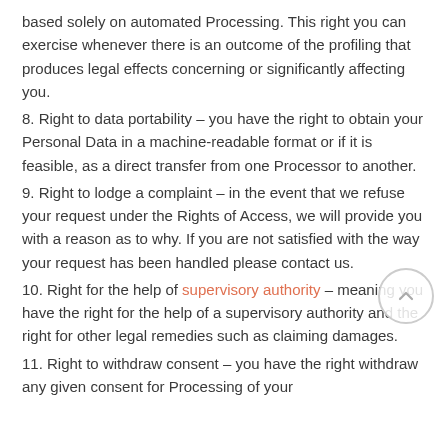based solely on automated Processing. This right you can exercise whenever there is an outcome of the profiling that produces legal effects concerning or significantly affecting you.
8. Right to data portability – you have the right to obtain your Personal Data in a machine-readable format or if it is feasible, as a direct transfer from one Processor to another.
9. Right to lodge a complaint – in the event that we refuse your request under the Rights of Access, we will provide you with a reason as to why. If you are not satisfied with the way your request has been handled please contact us.
10. Right for the help of supervisory authority – meaning you have the right for the help of a supervisory authority and the right for other legal remedies such as claiming damages.
11. Right to withdraw consent – you have the right withdraw any given consent for Processing of your